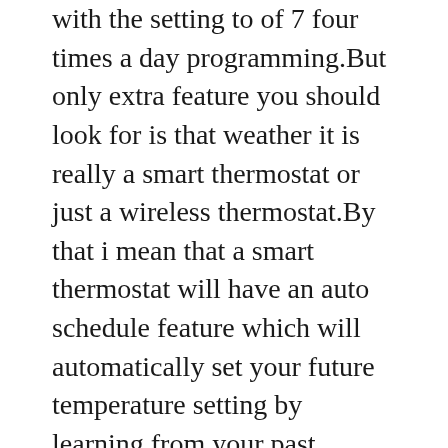with the setting to of 7 four times a day programming.But only extra feature you should look for is that weather it is really a smart thermostat or just a wireless thermostat.By that i mean that a smart thermostat will have an auto schedule feature which will automatically set your future temperature setting by learning from your past temperature and the time of adjustments ,the current or future outdoor weather conditions like temperature and humidity level to adjust its controls.It can also auto adjust by learning weather you are at home or about to reach home(Geo-fencing).Some thermostat like ecobee comes with remote sensors that can monitor and control